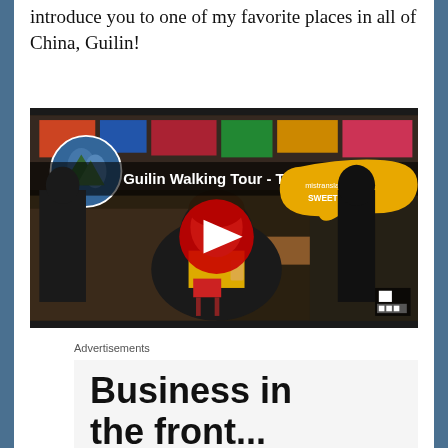introduce you to one of my favorite places in all of China, Guilin!
[Figure (screenshot): YouTube video thumbnail showing a woman holding a drink in a Chinese market/restaurant. The video title reads 'Guilin Walking Tour - The Pla...' with a red YouTube play button in the center. A yellow speech bubble reads 'mistranslation: SWEET TEA'.]
Advertisements
[Figure (screenshot): Advertisement banner showing text 'Business in the front...' in large bold font on a light gray background, with a WordPress logo/text on an orange-pink gradient background below.]